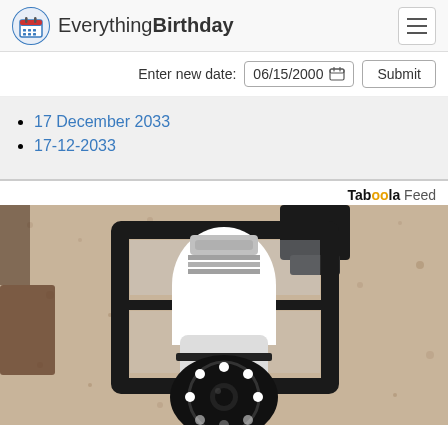Everything Birthday
Enter new date: 06/15/2000  Submit
17 December 2033
17-12-2033
Taboola Feed
[Figure (photo): A security camera shaped like a light bulb installed in an outdoor wall lantern fixture mounted on a textured beige stucco wall.]